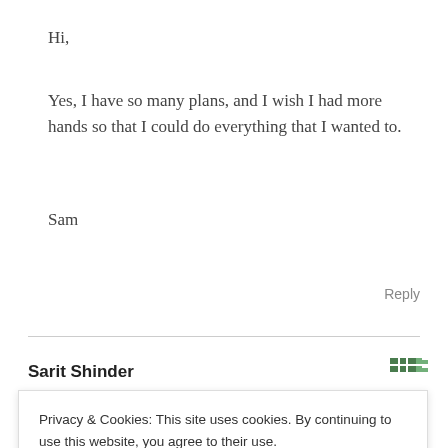Hi,
Yes, I have so many plans, and I wish I had more hands so that I could do everything that I wanted to.
Sam
Reply
Sarit Shinder
Privacy & Cookies: This site uses cookies. By continuing to use this website, you agree to their use.
To find out more, including how to control cookies, see here: Cookie Policy
Close and accept